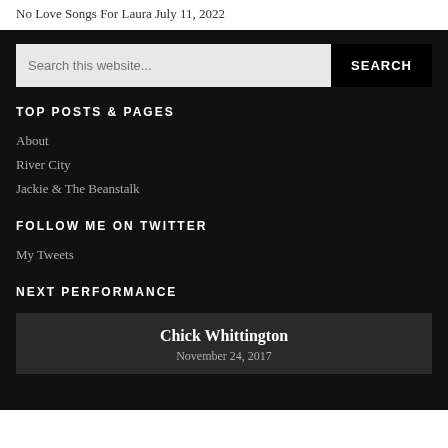No Love Songs For Laura July 11, 2022
Search this website...
TOP POSTS & PAGES
About
River City
Jackie & The Beanstalk
FOLLOW ME ON TWITTER
My Tweets
NEXT PERFORMANCE
Chick Whittington
November 24, 2017